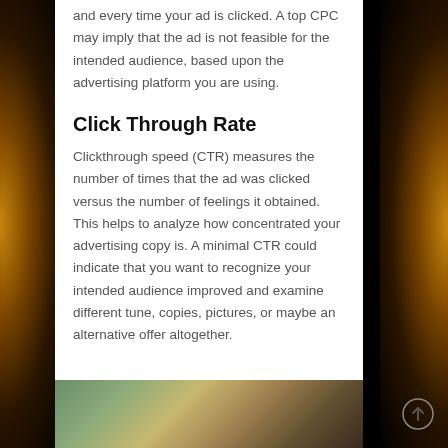and every time your ad is clicked. A top CPC may imply that the ad is not feasible for the intended audience, based upon the advertising platform you are using.
Click Through Rate
Clickthrough speed (CTR) measures the number of times that the ad was clicked versus the number of feelings it obtained. This helps to analyze how concentrated your advertising copy is. A minimal CTR could indicate that you want to recognize your intended audience improved and examine different tune, copies, pictures, or maybe an alternative offer altogether.
[Figure (photo): Partial view of an indoor/outdoor scene with plants and a bright outdoor background visible through a window or opening, and a lamp or fixture on the right side.]